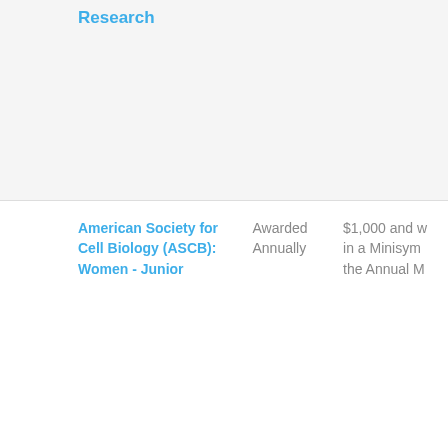Research
| Organization | Frequency | Award |
| --- | --- | --- |
| American Society for Cell Biology (ASCB): Women - Junior | Awarded Annually | $1,000 and w... in a Minisym... the Annual M... |